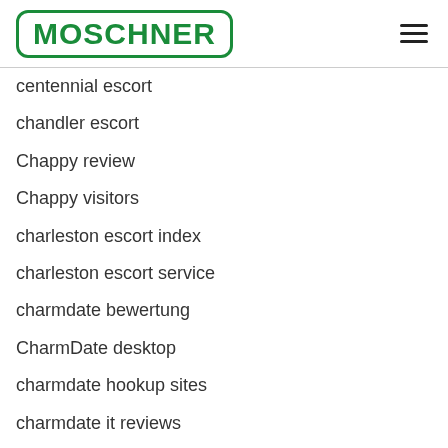MOSCHNER
centennial escort
chandler escort
Chappy review
Chappy visitors
charleston escort index
charleston escort service
charmdate bewertung
CharmDate desktop
charmdate hookup sites
charmdate it reviews
charmdate mobile site
charmdate visitors